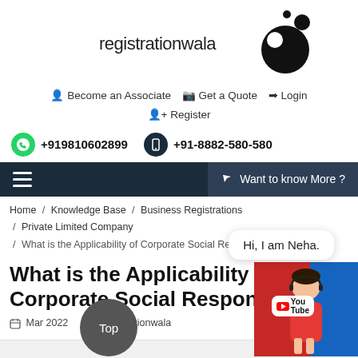[Figure (logo): Registrationwala logo with large black circle and smaller circles, text 'registrationwala']
Become an Associate   Get a Quote   Login
Register
+919810602899   +91-8882-580-580
≡   Want to know More ?
Home / Knowledge Base / Business Registrations / Private Limited Company / What is the Applicability of Corporate Social Responsibility
What is the Applicability of Corporate Social Responsibility
Mar 2022  Registrationwala